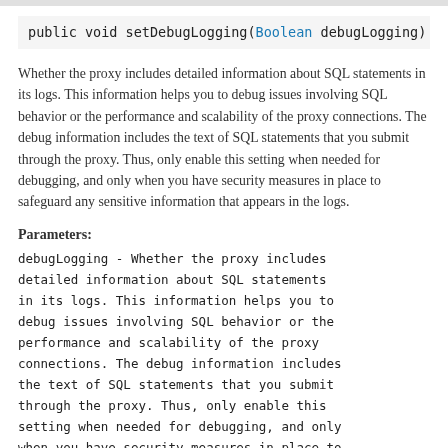public void setDebugLogging(Boolean debugLogging)
Whether the proxy includes detailed information about SQL statements in its logs. This information helps you to debug issues involving SQL behavior or the performance and scalability of the proxy connections. The debug information includes the text of SQL statements that you submit through the proxy. Thus, only enable this setting when needed for debugging, and only when you have security measures in place to safeguard any sensitive information that appears in the logs.
Parameters:
debugLogging - Whether the proxy includes detailed information about SQL statements in its logs. This information helps you to debug issues involving SQL behavior or the performance and scalability of the proxy connections. The debug information includes the text of SQL statements that you submit through the proxy. Thus, only enable this setting when needed for debugging, and only when you have security measures in place to safeguard any sensitive information that